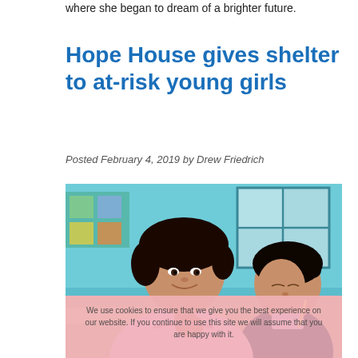where she began to dream of a brighter future.
Hope House gives shelter to at-risk young girls
Posted February 4, 2019 by Drew Friedrich
[Figure (photo): Two young girls in pink school uniforms sitting at classroom desks. The girl in the foreground smiles at the camera, resting her chin on her hand. The girl in the background is looking down, writing. The classroom has teal/turquoise walls and windows.]
We use cookies to ensure that we give you the best experience on our website. If you continue to use this site we will assume that you are happy with it.